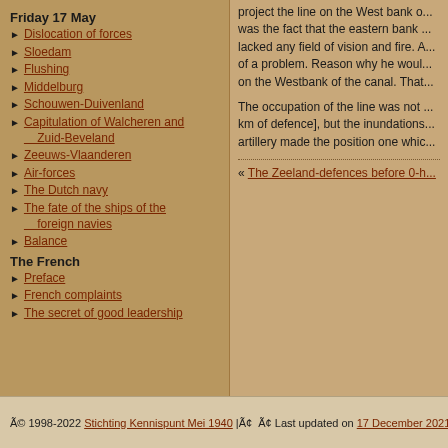Friday 17 May
Dislocation of forces
Sloedam
Flushing
Middelburg
Schouwen-Duivenland
Capitulation of Walcheren and Zuid-Beveland
Zeeuws-Vlaanderen
Air-forces
The Dutch navy
The fate of the ships of the foreign navies
Balance
The French
Preface
French complaints
The secret of good leadership
project the line on the West bank of... was the fact that the eastern bank... lacked any field of vision and fire. A... of a problem. Reason why he would... on the Westbank of the canal. That...
The occupation of the line was not... km of defence], but the inundations... artillery made the position one whic...
« The Zeeland-defences before 0-h...
Ã© 1998-2022 Stichting Kennispunt Mei 1940 |Ã¢  Ã¢ Last updated on 17 December 2021 |